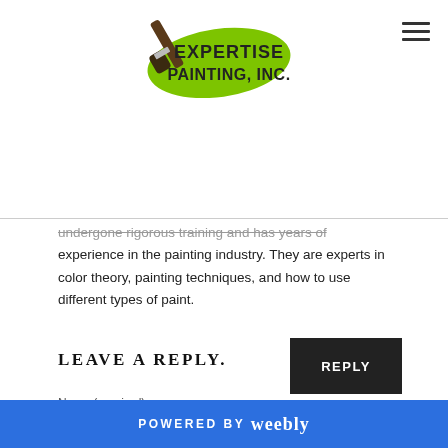[Figure (logo): Expertise Painting, Inc. logo with a green paint brush graphic and bold text]
undergone rigorous training and has years of experience in the painting industry. They are experts in color theory, painting techniques, and how to use different types of paint.
REPLY
LEAVE A REPLY.
Name (required)
POWERED BY weebly